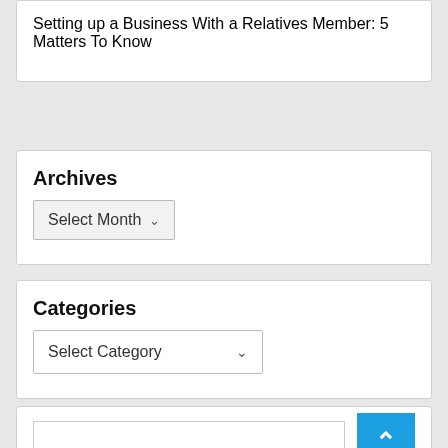Setting up a Business With a Relatives Member: 5 Matters To Know
Archives
Select Month
Categories
Select Category
[Figure (other): Back to top button (blue square with white upward chevron arrow) and a search input box]